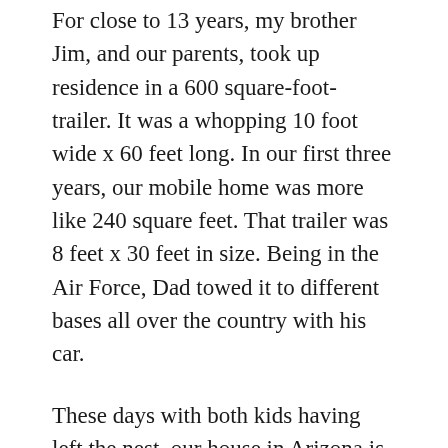For close to 13 years, my brother Jim, and our parents, took up residence in a 600 square-foot-trailer. It was a whopping 10 foot wide x 60 feet long. In our first three years, our mobile home was more like 240 square feet. That trailer was 8 feet x 30 feet in size. Being in the Air Force, Dad towed it to different bases all over the country with his car.
These days with both kids having left the nest, our house in Arizona is 1621 square feet not counting Casita and garage. The garage is actually bigger than the home itself. Only in Lake Havasu City can you get away with such. Thank you, Planning and Zoning.
Just recently, some friends in Anchorage